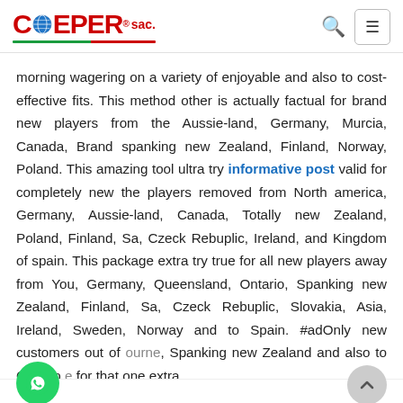COEPER SAC. logo with search and menu icons
morning wagering on a variety of enjoyable and also to cost-effective fits. This method other is actually factual for brand new players from the Aussie-land, Germany, Murcia, Canada, Brand spanking new Zealand, Finland, Norway, Poland. This amazing tool ultra try informative post valid for completely new the players removed from North america, Germany, Aussie-land, Canada, Totally new Zealand, Poland, Finland, Sa, Czeck Rebuplic, Ireland, and Kingdom of spain. This package extra try true for all new players away from You, Germany, Queensland, Ontario, Spanking new Zealand, Finland, Sa, Czeck Rebuplic, Slovakia, Asia, Ireland, Sweden, Norway and to Spain. #adOnly new customers out of bourne, Spanking new Zealand and also to Ontario e for that one extra.